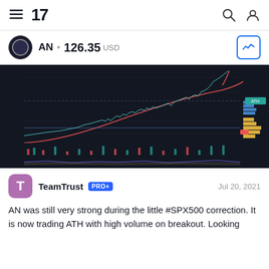TradingView navigation bar with hamburger menu, TV logo, search and account icons
AN • 126.35 USD
[Figure (screenshot): Dark-themed TradingView candlestick chart showing AN stock with an upward trend, a curved red moving average, horizontal support level, volume profile bars (yellow/blue) on the right, and MACD/oscillator indicators at the bottom.]
TeamTrust PRO+ Jul 20, 2021
AN was still very strong during the little #SPX500 correction. It is now trading ATH with high volume on breakout. Looking